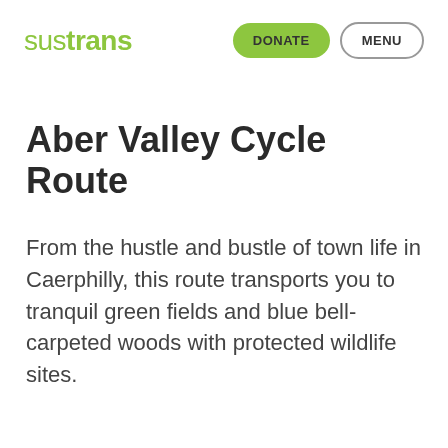sustrans | DONATE | MENU
Aber Valley Cycle Route
From the hustle and bustle of town life in Caerphilly, this route transports you to tranquil green fields and blue bell-carpeted woods with protected wildlife sites.